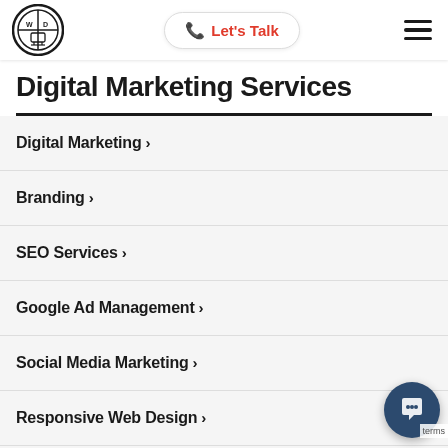Let's Talk
Digital Marketing Services
Digital Marketing >
Branding >
SEO Services >
Google Ad Management >
Social Media Marketing >
Responsive Web Design >
Web Development >